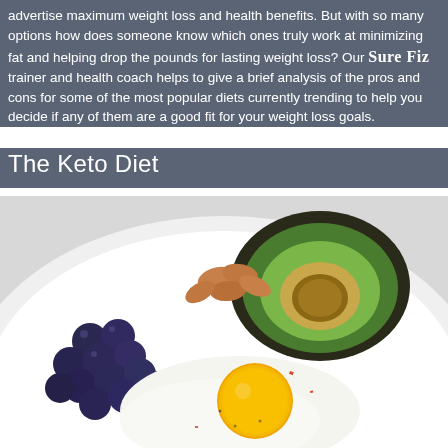advertise maximum weight loss and health benefits. But with so many options how does someone know which ones truly work at minimizing fat and helping drop the pounds for lasting weight loss? Our SureFiz trainer and health coach helps to give a brief analysis of the pros and cons for some of the most popular diets currently trending to help you decide if any of them are a good fit for your weight loss goals.
The Keto Diet
[Figure (photo): A plate with keto diet foods: a fried egg sunny-side up, blueberries, almonds, and half an avocado, photographed from above on a white plate.]